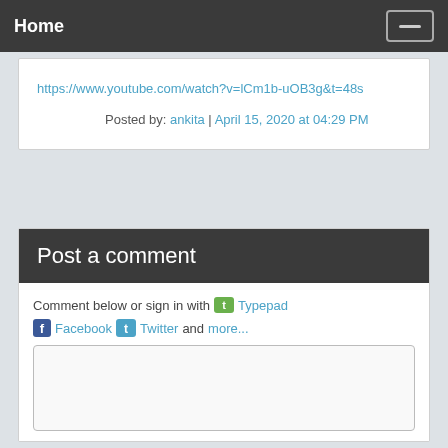Home
https://www.youtube.com/watch?v=lCm1b-uOB3g&t=48s
Posted by: ankita | April 15, 2020 at 04:29 PM
Post a comment
Comment below or sign in with Typepad Facebook Twitter and more...